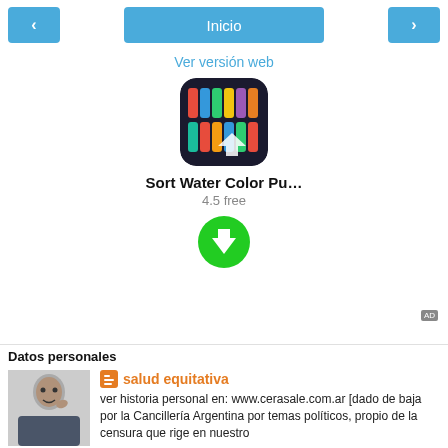< Inicio >
Ver versión web
[Figure (screenshot): App icon for Sort Water Color Puzzle game — dark background with colorful test tubes]
Sort Water Color Pu…
4.5 free
[Figure (illustration): Green circular download button with white downward arrow]
AD
Datos personales
[Figure (photo): Photo of a man in a suit, thinking pose, hand on chin]
salud equitativa
ver historia personal en: www.cerasale.com.ar [dado de baja por la Cancillería Argentina por temas políticos, propio de la censura que rige en nuestro